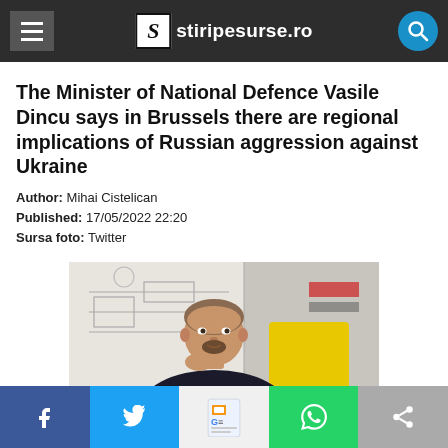stiripesurse.ro
The Minister of National Defence Vasile Dincu says in Brussels there are regional implications of Russian aggression against Ukraine
Author: Mihai Cistelican
Published: 17/05/2022 22:20
Sursa foto: Twitter
[Figure (photo): Photo of Vasile Dincu, Minister of National Defence, sitting in front of a whiteboard/diagram, resting his chin on his hand, with a yellow chair visible behind him.]
Facebook Twitter Google News WhatsApp Share